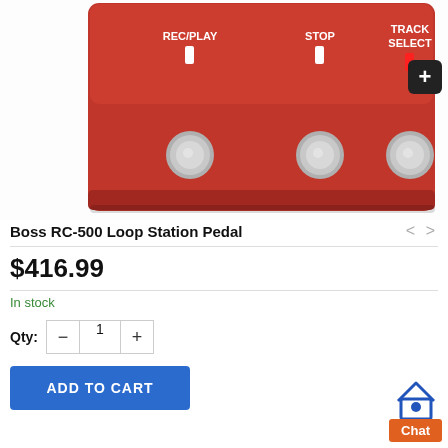[Figure (photo): Red Boss RC-500 Loop Station Pedal showing top view with three footswitches labeled REC/PLAY, STOP, and TRACK SELECT, with LED indicators. A black zoom button with plus sign is in the top right corner.]
Boss RC-500 Loop Station Pedal
$416.99
In stock
Qty: 1
ADD TO CART